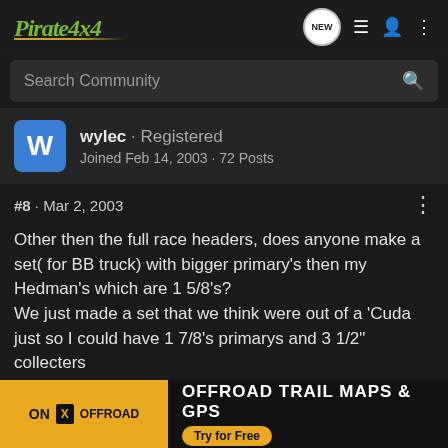Pirate4x4
Search Community
wylec · Registered
Joined Feb 14, 2003 · 72 Posts
#8 · Mar 2, 2003
Other then the full race headers, does anyone make a set( for BB truck) with bigger primary's then my Hedman's which are 1 5/8's?
We just made a set that we think were out of a 'Cuda just so I could have 1 7/8's primarys and 3 1/2" collecters
[Figure (screenshot): ON X OFFROAD ad banner: OFFROAD TRAIL MAPS & GPS, Try for Free]